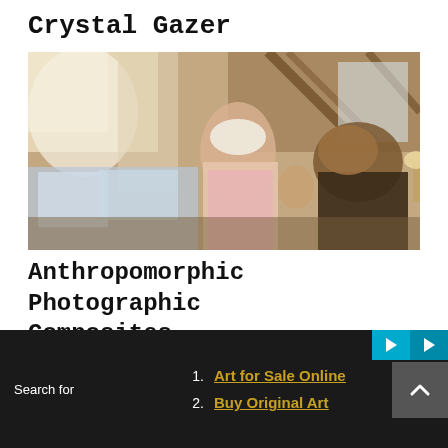Crystal Gazer
[Figure (photo): Anthropomorphic photographic composite showing creatures with human-like faces and bodies dressed in clothing, standing in an indoor bedroom scene with warm lighting and wooden beamed ceiling]
Anthropomorphic Photographic Composites
[Figure (photo): Dark monochrome photographic image showing clouds or smoke against a dark background]
Search for
1. Art for Sale Online
2. Buy Original Art